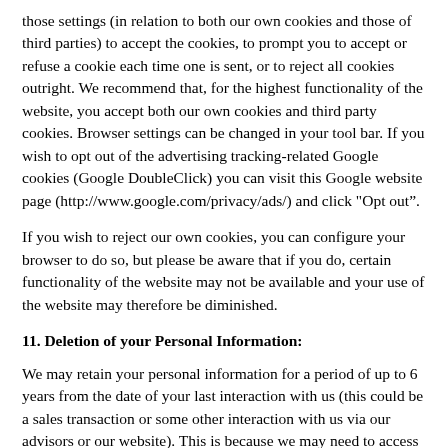those settings (in relation to both our own cookies and those of third parties) to accept the cookies, to prompt you to accept or refuse a cookie each time one is sent, or to reject all cookies outright. We recommend that, for the highest functionality of the website, you accept both our own cookies and third party cookies. Browser settings can be changed in your tool bar. If you wish to opt out of the advertising tracking-related Google cookies (Google DoubleClick) you can visit this Google website page (http://www.google.com/privacy/ads/) and click "Opt out”.
If you wish to reject our own cookies, you can configure your browser to do so, but please be aware that if you do, certain functionality of the website may not be available and your use of the website may therefore be diminished.
11. Deletion of your Personal Information:
We may retain your personal information for a period of up to 6 years from the date of your last interaction with us (this could be a sales transaction or some other interaction with us via our advisors or our website). This is because we may need to access historical information for regulatory and business reporting purposes and to administer our service guarantees.
12. Questions: